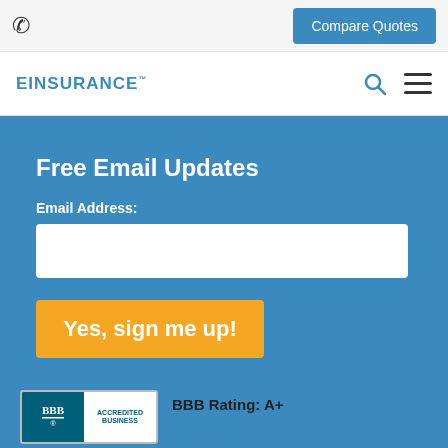Compare Quotes
[Figure (logo): EINSURANCE logo with search and menu icons]
Free Email Updates
Email Address:
Yes, sign me up!
[Figure (other): BBB Accredited Business badge with BBB Rating: A+ as of 5/6/2021, Click for Profile]